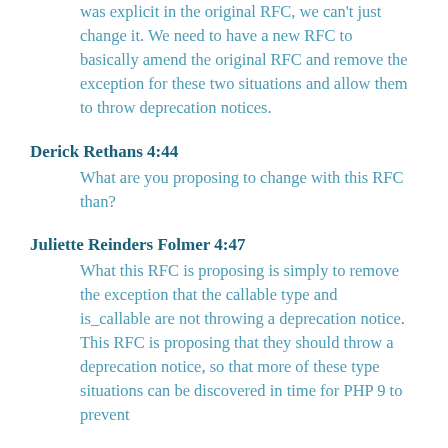was explicit in the original RFC, we can't just change it. We need to have a new RFC to basically amend the original RFC and remove the exception for these two situations and allow them to throw deprecation notices.
Derick Rethans 4:44
What are you proposing to change with this RFC than?
Juliette Reinders Folmer 4:47
What this RFC is proposing is simply to remove the exception that the callable type and is_callable are not throwing a deprecation notice. This RFC is proposing that they should throw a deprecation notice, so that more of these type situations can be discovered in time for PHP 9 to prevent